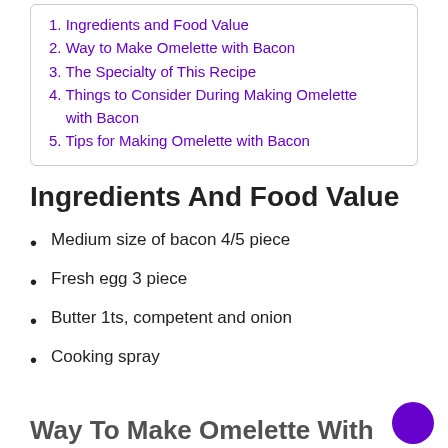1. Ingredients and Food Value
2. Way to Make Omelette with Bacon
3. The Specialty of This Recipe
4. Things to Consider During Making Omelette with Bacon
5. Tips for Making Omelette with Bacon
Ingredients And Food Value
Medium size of bacon 4/5 piece
Fresh egg 3 piece
Butter 1ts, competent and onion
Cooking spray